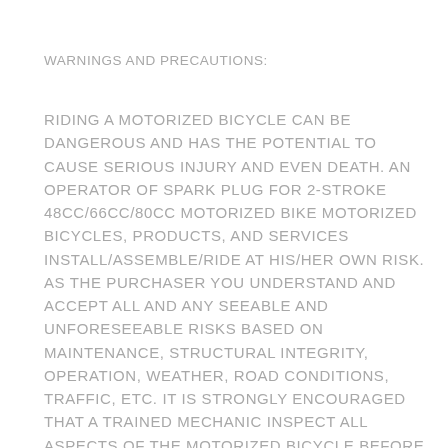WARNINGS AND PRECAUTIONS:
RIDING A MOTORIZED BICYCLE CAN BE DANGEROUS AND HAS THE POTENTIAL TO CAUSE SERIOUS INJURY AND EVEN DEATH. AN OPERATOR OF SPARK PLUG FOR 2-STROKE 48CC/66CC/80CC MOTORIZED BIKE MOTORIZED BICYCLES, PRODUCTS, AND SERVICES INSTALL/ASSEMBLE/RIDE AT HIS/HER OWN RISK. AS THE PURCHASER YOU UNDERSTAND AND ACCEPT ALL AND ANY SEEABLE AND UNFORESEEABLE RISKS BASED ON MAINTENANCE, STRUCTURAL INTEGRITY, OPERATION, WEATHER, ROAD CONDITIONS, TRAFFIC, ETC. IT IS STRONGLY ENCOURAGED THAT A TRAINED MECHANIC INSPECT ALL ASPECTS OF THE MOTORIZED BICYCLE BEFORE RIDING TO CONFIRM SUITABILITY. CUSTOMERS WHO ARE NOT MECHANICALLY INCLINED OR UNFAMILIAR WITH MOTORIZED BICYCLES ARE STRONGLY ADVISED